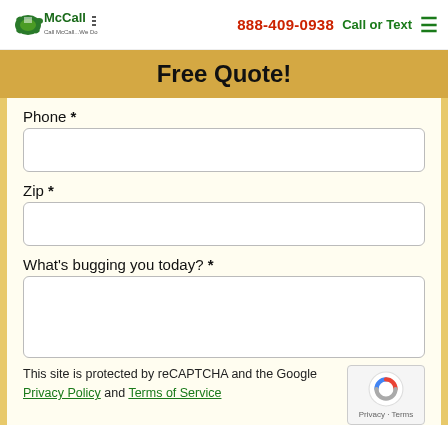McCall | 888-409-0938 | Call or Text
Free Quote!
Phone *
Zip *
What's bugging you today?  *
This site is protected by reCAPTCHA and the Google Privacy Policy and Terms of Service